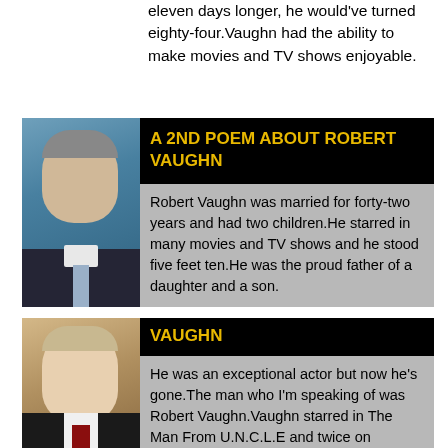eleven days longer, he would've turned eighty-four.Vaughn had the ability to make movies and TV shows enjoyable.
[Figure (photo): Portrait photo of Robert Vaughn in dark suit with light tie, blue background]
A 2ND POEM ABOUT ROBERT VAUGHN
Robert Vaughn was married for forty-two years and had two children.He starred in many movies and TV shows and he stood five feet ten.He was the proud father of a daughter and a son.
[Figure (photo): Portrait photo of Robert Vaughn smiling, wearing dark jacket with red tie]
VAUGHN
He was an exceptional actor but now he's gone.The man who I'm speaking of was Robert Vaughn.Vaughn starred in The Man From U.N.C.L.E and twice on Columbo.